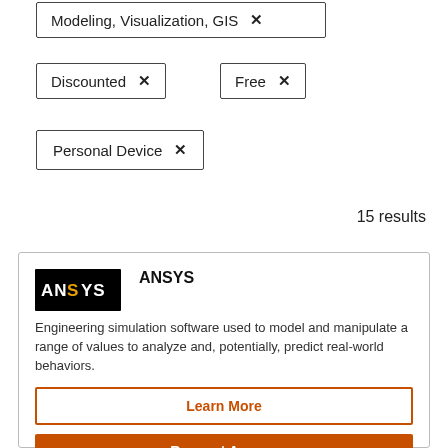Modeling, Visualization, GIS ×
Discounted ×
Free ×
Personal Device ×
15 results
[Figure (logo): ANSYS logo — white text on black background]
ANSYS
Engineering simulation software used to model and manipulate a range of values to analyze and, potentially, predict real-world behaviors.
Learn More
Request Access